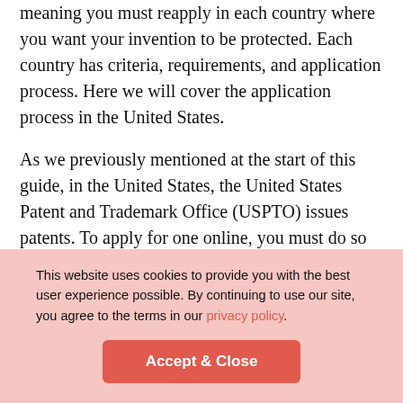meaning you must reapply in each country where you want your invention to be protected. Each country has criteria, requirements, and application process. Here we will cover the application process in the United States.
As we previously mentioned at the start of this guide, in the United States, the United States Patent and Trademark Office (USPTO) issues patents. To apply for one online, you must do so through their electronic filing system, EFS-Web. There are several documents needed, depending on the invention type and complexity. At the very least, you need:
This website uses cookies to provide you with the best user experience possible. By continuing to use our site, you agree to the terms in our privacy policy.